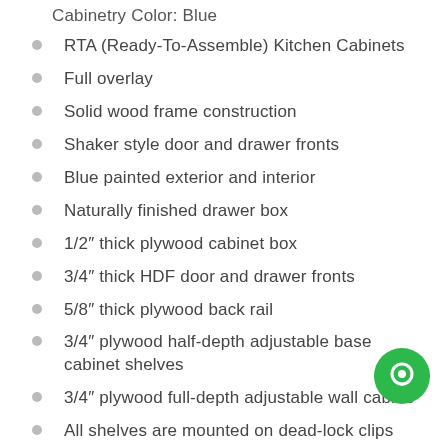Cabinetry Color: Blue
RTA (Ready-To-Assemble) Kitchen Cabinets
Full overlay
Solid wood frame construction
Shaker style door and drawer fronts
Blue painted exterior and interior
Naturally finished drawer box
1/2″ thick plywood cabinet box
3/4″ thick HDF door and drawer fronts
5/8″ thick plywood back rail
3/4″ plywood half-depth adjustable base cabinet shelves
3/4″ plywood full-depth adjustable wall cabinet
All shelves are mounted on dead-lock clips
[Figure (illustration): Green circular chat bubble icon in bottom-right corner]